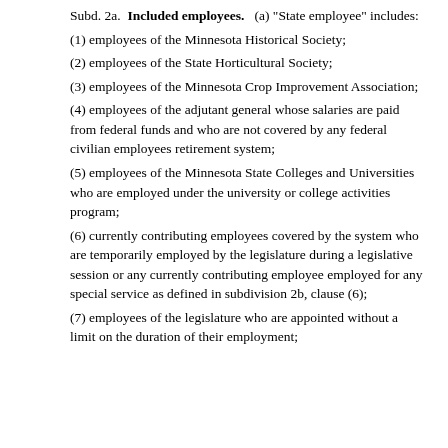Subd. 2a. Included employees. (a) "State employee" includes:
(1) employees of the Minnesota Historical Society;
(2) employees of the State Horticultural Society;
(3) employees of the Minnesota Crop Improvement Association;
(4) employees of the adjutant general whose salaries are paid from federal funds and who are not covered by any federal civilian employees retirement system;
(5) employees of the Minnesota State Colleges and Universities who are employed under the university or college activities program;
(6) currently contributing employees covered by the system who are temporarily employed by the legislature during a legislative session or any currently contributing employee employed for any special service as defined in subdivision 2b, clause (6);
(7) employees of the legislature who are appointed without a limit on the duration of their employment;